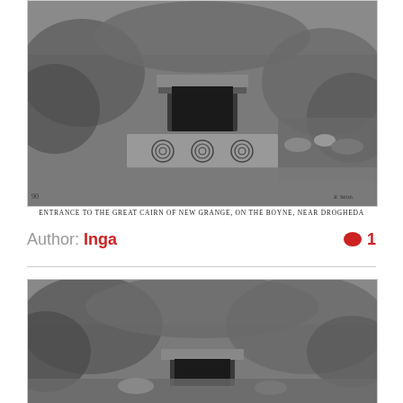[Figure (photo): Black and white photograph of the entrance to the Great Cairn of New Grange on the Boyne, near Drogheda. Shows stone entrance with carved spiral decorations on kerbstone, surrounded by vegetation.]
ENTRANCE TO THE GREAT CAIRN OF NEW GRANGE, ON THE BOYNE, NEAR DROGHEDA
Author: Inga
1
[Figure (photo): Black and white photograph showing another view of the cairn entrance at New Grange, with stone entrance visible among dense vegetation and rocky terrain.]